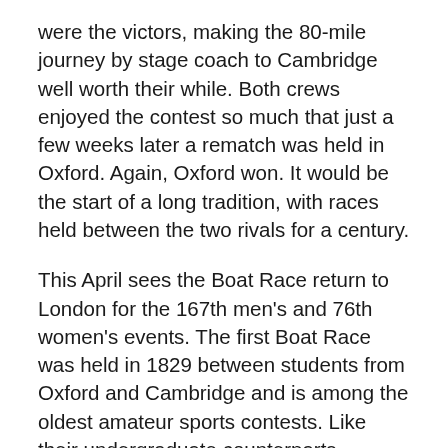were the victors, making the 80-mile journey by stage coach to Cambridge well worth their while. Both crews enjoyed the contest so much that just a few weeks later a rematch was held in Oxford. Again, Oxford won. It would be the start of a long tradition, with races held between the two rivals for a century.
This April sees the Boat Race return to London for the 167th men's and 76th women's events. The first Boat Race was held in 1829 between students from Oxford and Cambridge and is among the oldest amateur sports contests. Like their undergraduate counterparts, college servants (as college staff were referred to then) were rowing together from at least the 1820s.
Although many other employers encouraged and often provided workers with opportunities for athletic recreation during this period, colleges were different. College servants' sports – which included rowing, athletics, bowls, cricket, football and tennis – were entirely self-organised. College employment afforded these